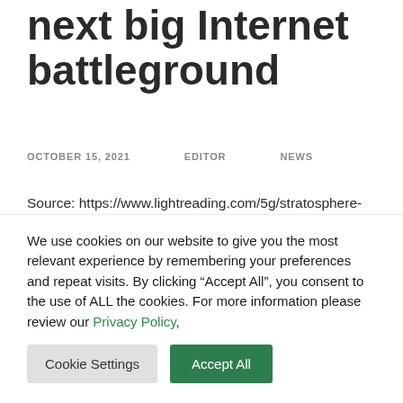next big Internet battleground
OCTOBER 15, 2021   EDITOR   NEWS
Source: https://www.lightreading.com/5g/stratosphere-emerging-as-next-big-internet-battleground/d/d-id/772813 News Analysis MIKE DANO, Editorial Director, 5G & Mobile Strategies 10/14/2021 Amid a dramatic rise in air travel as pandemic restrictions recede, a growing number of
We use cookies on our website to give you the most relevant experience by remembering your preferences and repeat visits. By clicking “Accept All”, you consent to the use of ALL the cookies. For more information please review our Privacy Policy,
Cookie Settings   Accept All